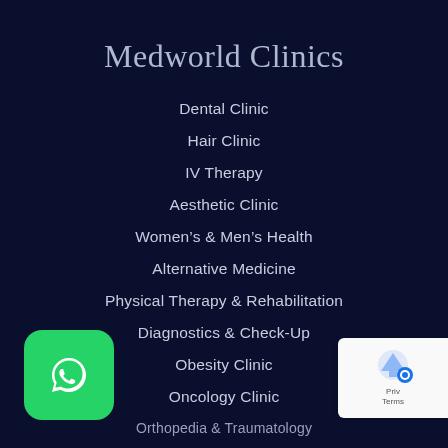Medworld Clinics
Dental Clinic
Hair Clinic
IV Therapy
Aesthetic Clinic
Women's & Men's Health
Alternative Medicine
Physical Therapy & Rehabilitation
Diagnostics & Check-Up
Obesity Clinic
Oncology Clinic
Orthopedia & Traumatology
[Figure (logo): Green WhatsApp icon button, bottom left]
[Figure (logo): Google reCAPTCHA badge, bottom right]